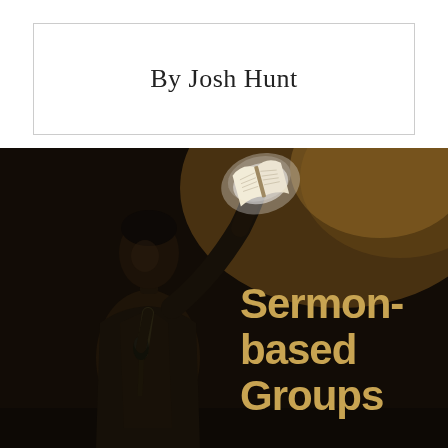By Josh Hunt
[Figure (photo): Dark sepia-toned photo of a man holding up an open Bible illuminated by light, holding a microphone, with text overlay reading 'Sermon-based Groups']